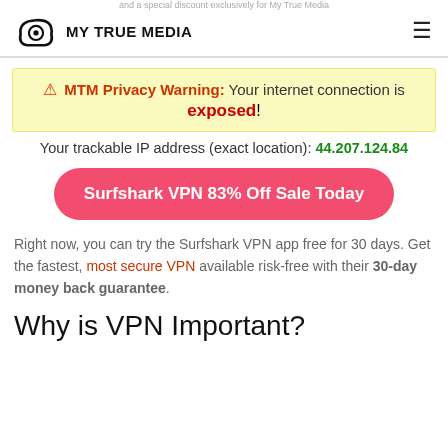MY TRUE MEDIA
MTM Privacy Warning: Your internet connection is exposed!
Your trackable IP address (exact location): 44.207.124.84
Surfshark VPN 83% Off Sale Today
Right now, you can try the Surfshark VPN app free for 30 days. Get the fastest, most secure VPN available risk-free with their 30-day money back guarantee.
Why is VPN Important?